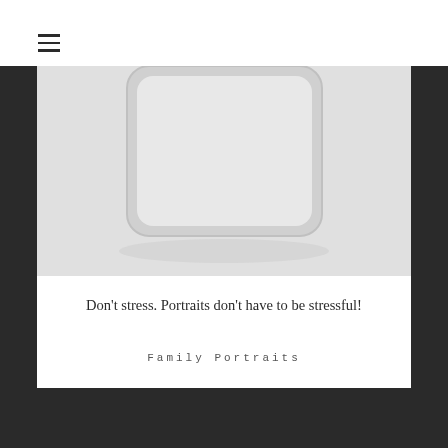≡
[Figure (photo): Partial view of a mobile phone or tablet device with a rounded rectangle shape visible against a light gray background. The image is cropped showing only the lower portion of the device.]
Don't stress. Portraits don't have to be stressful!
Family Portraits